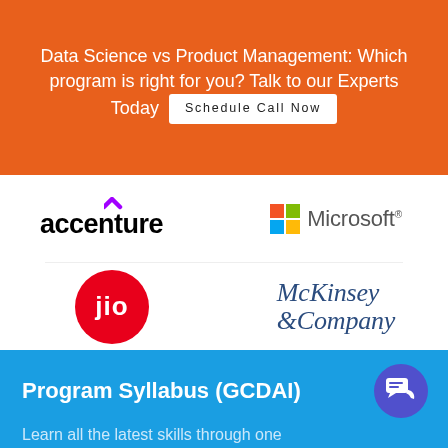Data Science vs Product Management: Which program is right for you? Talk to our Experts Today  Schedule Call Now
[Figure (logo): Accenture logo with purple chevron and black text]
[Figure (logo): Microsoft logo with colorful grid and grey text]
[Figure (logo): Jio logo - white text on red circle]
[Figure (logo): McKinsey & Company logo in blue serif italic text]
Program Syllabus (GCDAI)
Learn all the latest skills through one